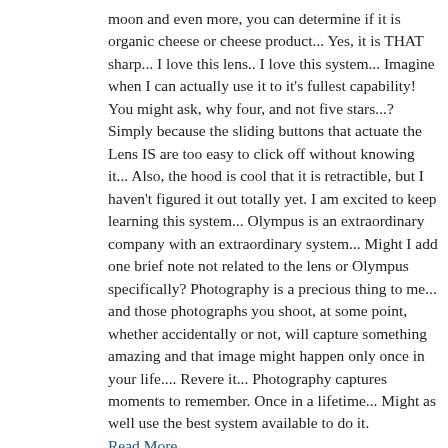moon and even more, you can determine if it is organic cheese or cheese product... Yes, it is THAT sharp... I love this lens.. I love this system... Imagine when I can actually use it to it's fullest capability! You might ask, why four, and not five stars...? Simply because the sliding buttons that actuate the Lens IS are too easy to click off without knowing it... Also, the hood is cool that it is retractible, but I haven't figured it out totally yet. I am excited to keep learning this system... Olympus is an extraordinary company with an extraordinary system... Might I add one brief note not related to the lens or Olympus specifically? Photography is a precious thing to me... and those photographs you shoot, at some point, whether accidentally or not, will capture something amazing and that image might happen only once in your life.... Revere it... Photography captures moments to remember. Once in a lifetime... Might as well use the best system available to do it.
Read More
February 21, 2018 by TOWheel
Awesome Lens.
Total Awesome Lens. I’ve owned a lot of Canon L lenses over 25 years but this lens is as good as if not better than 95% of the ones I have owned. Beautiful made lens. Would have gave it 5 stars but the Hood isn’t designed very good. Very easy to get it stuck when extended out and it’s